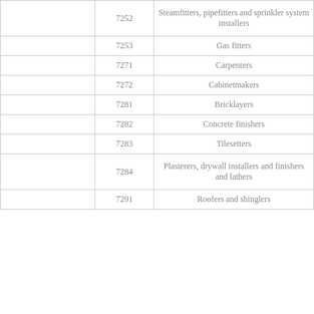|  | Code | Occupation |
| --- | --- | --- |
|  | 7252 | Steamfitters, pipefitters and sprinkler system installers |
|  | 7253 | Gas fitters |
|  | 7271 | Carpenters |
|  | 7272 | Cabinetmakers |
|  | 7281 | Bricklayers |
|  | 7282 | Concrete finishers |
|  | 7283 | Tilesetters |
|  | 7284 | Plasterers, drywall installers and finishers and lathers |
|  | 7291 | Roofers and shinglers |